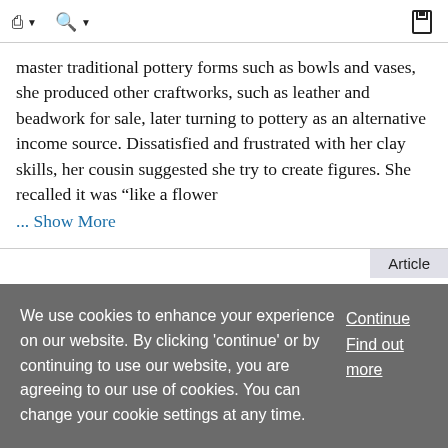navigation and search icons with save button
master traditional pottery forms such as bowls and vases, she produced other craftworks, such as leather and beadwork for sale, later turning to pottery as an alternative income source. Dissatisfied and frustrated with her clay skills, her cousin suggested she try to create figures. She recalled it was “like a flower
... Show More
Article
Davidson, Robert 🔒
We use cookies to enhance your experience on our website. By clicking 'continue' or by continuing to use our website, you are agreeing to our use of cookies. You can change your cookie settings at any time.
Continue
Find out more